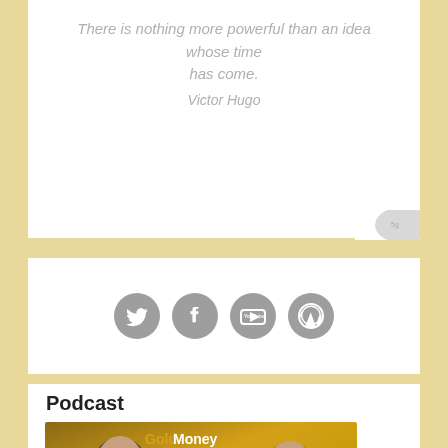There is nothing more powerful than an idea whose time has come.
Victor Hugo
[Figure (illustration): Social media icons: Twitter, Facebook, YouTube, WordPress — gray circular icons]
Podcast
[Figure (photo): GoldMoney podcast banner: Episode 62: Andy Duncan talks to Thomas Jacob, 27 October 2012. Two men in suits on golden background. www.goldmoney.com/podcast]